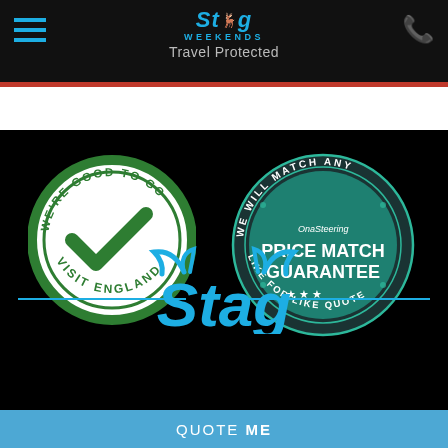Stag Weekends — Travel Protected
[Figure (logo): We're Good To Go – Visit England circular badge with green checkmark]
[Figure (logo): Price Match Guarantee – We will match any like for like quote circular badge in teal]
[Figure (logo): Stag Weekends large blue logo at the bottom]
QUOTE ME